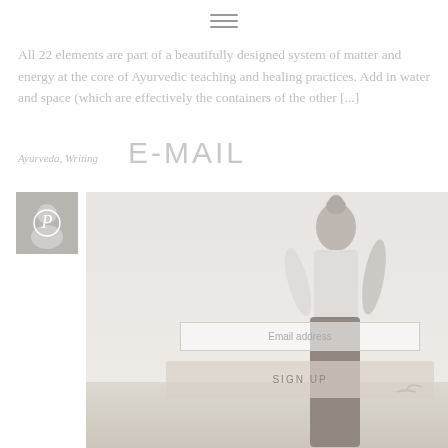≡
All 22 elements are part of a beautifully designed system of matter and energy at the core of Ayurvedic teaching and healing practices. Add in water and space (which are effectively the containers of the other [...]
Ayurveda, Writing
E-MAIL
[Figure (other): Pinterest thumbnail icon with a person silhouette photo in background. Overlaid email signup form with 'Email address' input field and 'SIGN UP' button.]